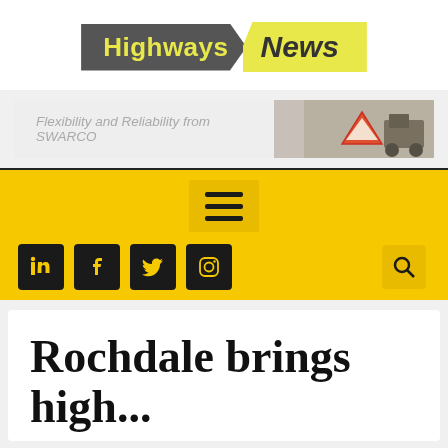[Figure (logo): Highways News logo — 'Highways' in yellow text on dark grey chevron banner, 'News' in dark text on yellow chevron banner]
[Figure (infographic): Advertisement banner: 'Flexibility and Reliability from SWARCO' text on light grey background with road construction imagery on right]
[Figure (screenshot): Yellow navigation bar with hamburger menu icon (three horizontal lines) and social media icons (LinkedIn, Facebook, Twitter, Instagram) and search icon]
Rochdale brings high...